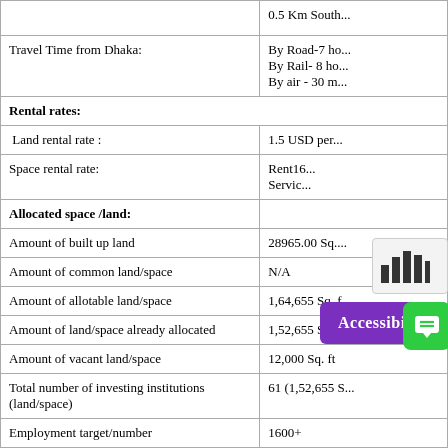| Field | Value |
| --- | --- |
|  | 0.5 Km South... |
| Travel Time from Dhaka: | By Road-7 ho...
By Rail- 8 ho...
By air - 30 m... |
| Rental rates: |  |
| Land rental rate : | 1.5 USD per... |
| Space rental rate: | Rent16...
Servic... |
| Allocated space /land: |  |
| Amount of built up land | 28965.00 Sq.... |
| Amount of common land/space | N/A |
| Amount of allotable land/space | 1,64,655 Sq. f... |
| Amount of land/space already allocated | 1,52,655 Sq. f... |
| Amount of vacant land/space | 12,000 Sq. ft |
| Total number of investing institutions (land/space) | 61 (1,52,655 S... |
| Employment target/number | 1600+ |